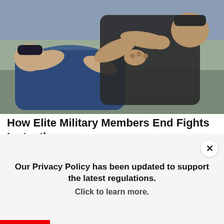[Figure (photo): Two people in a physical altercation, one person has the other in a headlock/chokehold outdoors]
How Elite Military Members End Fights Instantly
🔥 5,617
[Figure (photo): Two public figures sitting together at an event, a woman with brown hair on the left and a man with white/blonde hair on the right, with a video play button overlay]
Our Privacy Policy has been updated to support the latest regulations. Click to learn more.